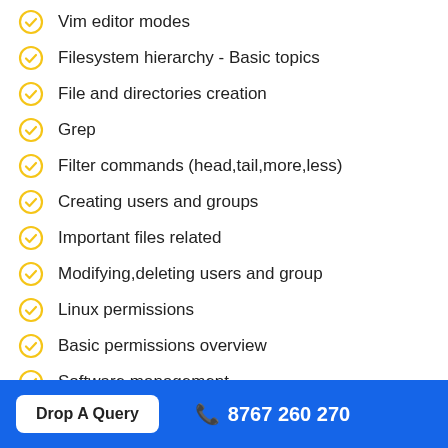Vim editor modes
Filesystem hierarchy - Basic topics
File and directories creation
Grep
Filter commands (head,tail,more,less)
Creating users and groups
Important files related
Modifying,deleting users and group
Linux permissions
Basic permissions overview
Software management
Yellowdog update modifier(yum)
Drop A Query   8767 260 270